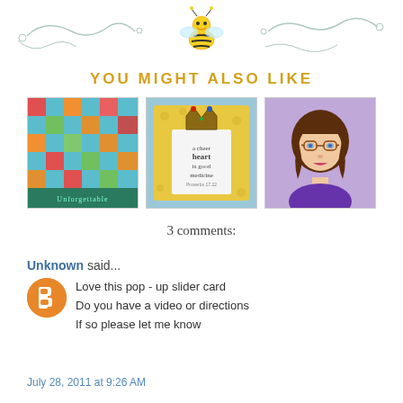[Figure (illustration): Decorative blog header with a cute cartoon bee in the center and ornamental swirls on either side]
YOU MIGHT ALSO LIKE
[Figure (photo): Colorful scrapbook/quilt layout with teal, orange, and green patterned squares. Text at bottom reads 'Unforgettable']
[Figure (photo): Handmade card with a crown on top and circular text reading 'a cheer heart is good medicine' on a teal/gold background]
[Figure (illustration): Cartoon avatar of a woman with brown wavy hair, glasses, and a purple top on a lavender background]
3 comments:
Unknown said...
Love this pop - up slider card
Do you have a video or directions
If so please let me know
July 28, 2011 at 9:26 AM